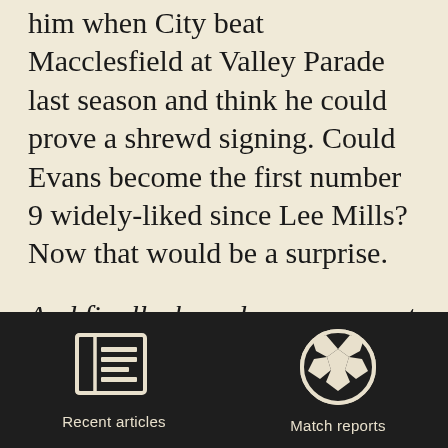him when City beat Macclesfield at Valley Parade last season and think he could prove a shrewd signing. Could Evans become the first number 9 widely-liked since Lee Mills? Now that would be a surprise.
And finally, how do you see next season ending? Even though other teams in this division have bigger resources, there's nothing to fear. A play off spot
[Figure (infographic): Dark navigation bar with two icon buttons: 'Recent articles' (newspaper icon) and 'Match reports' (soccer ball icon)]